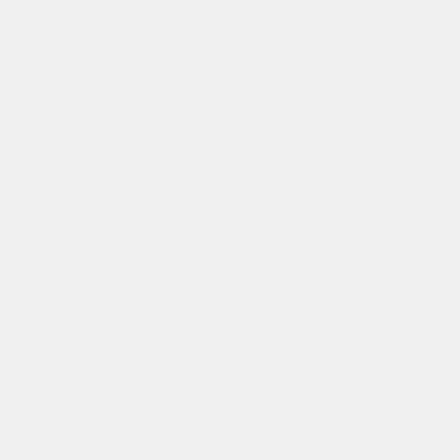Optional. Sets the default presentation of the controls to be either visible or hidden. The default value is visible.
<link rel="stylesheet" href="ui/slides.cs… Required. This links to the CSS that drives the visual presentation of the slide show. The referenced file consists of three @import directives that point to still other style sheets; see the file map for more details.
<link rel="stylesheet" href="ui/outline.c… Required. This links to the style sheet used to present the outline view of the slide show.
<link rel="stylesheet" href="ui/print.css… Required. This links to the print-medium style sheet, which contains directives that format the…